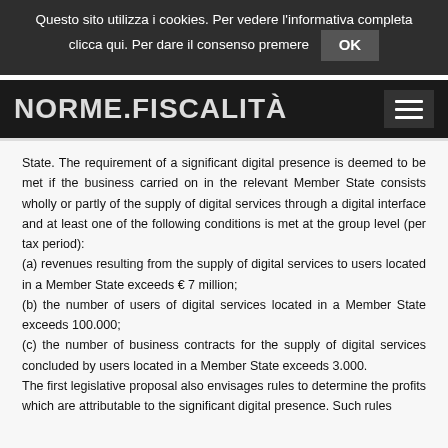Questo sito utilizza i cookies. Per vedere l’informativa completa clicca qui. Per dare il consenso premere OK
State. The requirement of a significant digital presence is deemed to be met if the business carried on in the relevant Member State consists wholly or partly of the supply of digital services through a digital interface and at least one of the following conditions is met at the group level (per tax period):
(a) revenues resulting from the supply of digital services to users located in a Member State exceeds € 7 million;
(b) the number of users of digital services located in a Member State exceeds 100.000;
(c) the number of business contracts for the supply of digital services concluded by users located in a Member State exceeds 3.000.
The first legislative proposal also envisages rules to determine the profits which are attributable to the significant digital presence. Such rules